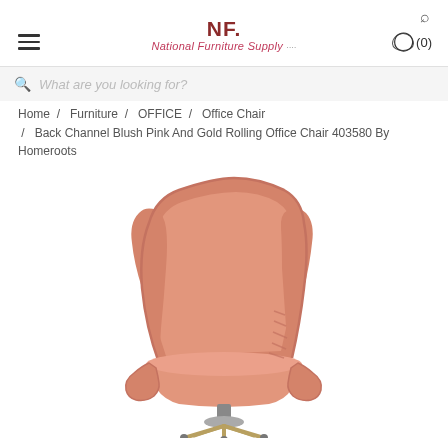NF. National Furniture Supply — (0) cart
What are you looking for?
Home / Furniture / OFFICE / Office Chair / Back Channel Blush Pink And Gold Rolling Office Chair 403580 By Homeroots
[Figure (photo): Blush pink upholstered rolling office chair with wingback style, channel-tufted back support on right side, wide seat, and a gold/chrome pedestal base. The chair is photographed on a white background.]